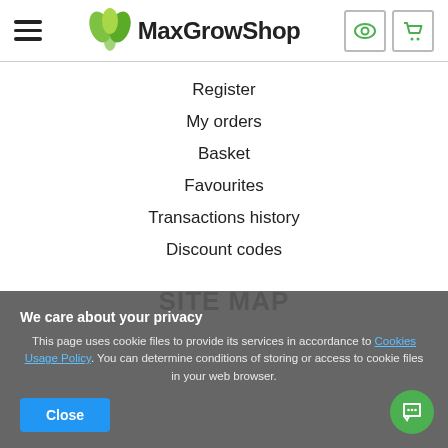[Figure (logo): MaxGrowShop logo with green leaf icon and bold text]
Register
My orders
Basket
Favourites
Transactions history
Discount codes
SITE MAP
We care about your privacy
This page uses cookie files to provide its services in accordance to Cookies Usage Policy. You can determine conditions of storing or access to cookie files in your web browser.
Close